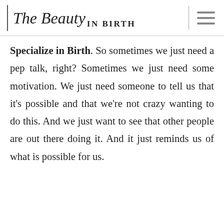The Beauty IN BIRTH
Specialize in Birth. So sometimes we just need a pep talk, right? Sometimes we just need some motivation. We just need someone to tell us that it’s possible and that we’re not crazy wanting to do this. And we just want to see that other people are out there doing it. And it just reminds us of what is possible for us.